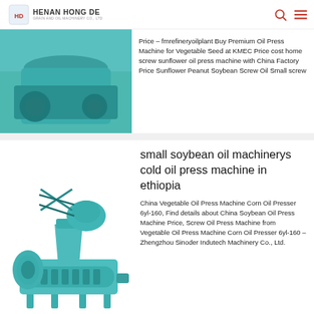HENAN HONG DE GRAIN AND OIL MACHINERY CO., LTD
[Figure (photo): Teal/cyan colored oil press machine photo, partially visible at top]
Price – fmrefineryoilplant Buy Premium Oil Press Machine for Vegetable Seed at KMEC Price cost home screw sunflower oil press machine with China Factory Price Sunflower Peanut Soybean Screw Oil Small screw
[Figure (photo): Small green/teal soybean oil press machine (cold press screw type) on white background]
small soybean oil machinerys cold oil press machine in ethiopia
China Vegetable Oil Press Machine Corn Oil Presser 6yl-160, Find details about China Soybean Oil Press Machine Price, Screw Oil Press Machine from Vegetable Oil Press Machine Corn Oil Presser 6yl-160 – Zhengzhou Sinoder Indutech Machinery Co., Ltd.